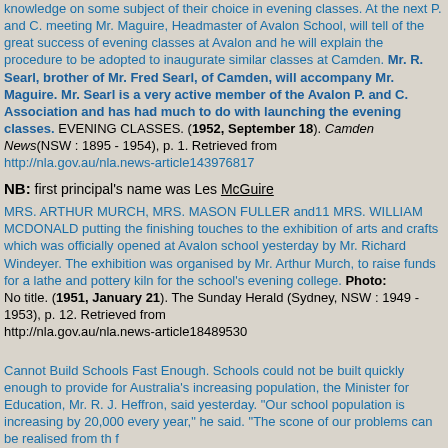knowledge on some subject of their choice in evening classes. At the next P. and C. meeting Mr. Maguire, Headmaster of Avalon School, will tell of the great success of evening classes at Avalon and he will explain the procedure to be adopted to inaugurate similar classes at Camden. Mr. R. Searl, brother of Mr. Fred Searl, of Camden, will accompany Mr. Maguire. Mr. Searl is a very active member of the Avalon P. and C. Association and has had much to do with launching the evening classes. EVENING CLASSES. (1952, September 18). Camden News(NSW : 1895 - 1954), p. 1. Retrieved from http://nla.gov.au/nla.news-article143976817
NB: first principal's name was Les McGuire
MRS. ARTHUR MURCH, MRS. MASON FULLER and11 MRS. WILLIAM MCDONALD putting the finishing touches to the exhibition of arts and crafts which was officially opened at Avalon school yesterday by Mr. Richard Windeyer. The exhibition was organised by Mr. Arthur Murch, to raise funds for a lathe and pottery kiln for the school's evening college. Photo: No title. (1951, January 21). The Sunday Herald (Sydney, NSW : 1949 - 1953), p. 12. Retrieved from http://nla.gov.au/nla.news-article18489530
Cannot Build Schools Fast Enough. Schools could not be built quickly enough to provide for Australia's increasing population, the Minister for Education, Mr. R. J. Heffron, said yesterday. "Our school population is increasing by 20,000 every year," he said. "The scone of our problems can be realised from th f